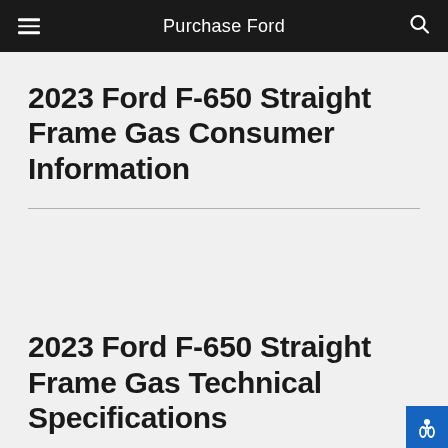Purchase Ford
2023 Ford F-650 Straight Frame Gas Consumer Information
2023 Ford F-650 Straight Frame Gas Technical Specifications